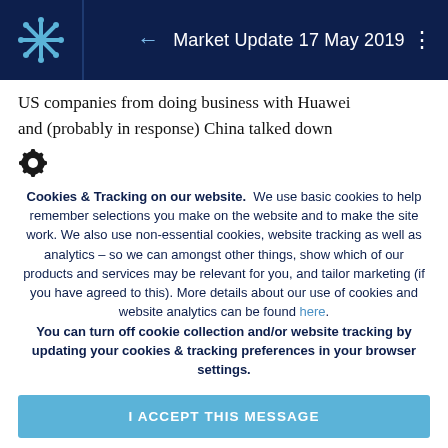Market Update 17 May 2019
US companies from doing business with Huawei and (probably in response) China talked down
[Figure (other): Gear/settings icon]
Cookies & Tracking on our website. We use basic cookies to help remember selections you make on the website and to make the site work. We also use non-essential cookies, website tracking as well as analytics – so we can amongst other things, show which of our products and services may be relevant for you, and tailor marketing (if you have agreed to this). More details about our use of cookies and website analytics can be found here. You can turn off cookie collection and/or website tracking by updating your cookies & tracking preferences in your browser settings.
I ACCEPT THIS MESSAGE